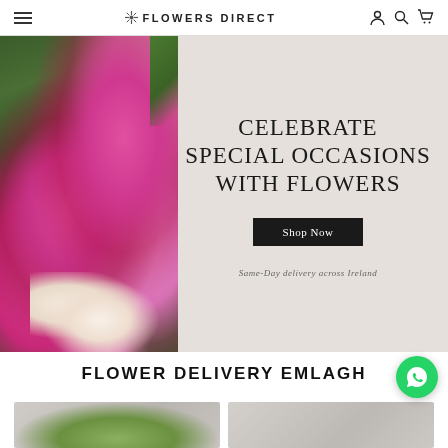FLOWERS DIRECT
[Figure (photo): Hero banner showing pink and magenta roses bouquet on the left side with a light grey/beige background on the right, with text 'CELEBRATE SPECIAL OCCASIONS WITH FLOWERS', a 'Shop Now' button, and tagline 'Same-Day delivery across Ireland']
FLOWER DELIVERY EMLAGH
[Figure (photo): Two partially visible product thumbnail images at the bottom of the page]